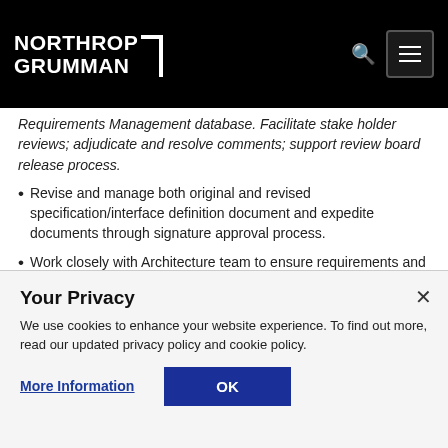Northrop Grumman
Requirements Management database. Facilitate stake holder reviews; adjudicate and resolve comments; support review board release process.
Revise and manage both original and revised specification/interface definition document and expedite documents through signature approval process.
Work closely with Architecture team to ensure requirements and architecture models are in alignment
Your Privacy
We use cookies to enhance your website experience. To find out more, read our updated privacy policy and cookie policy.
More Information | OK